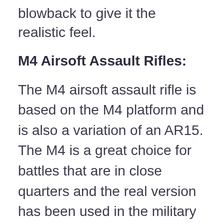blowback to give it the realistic feel.
M4 Airsoft Assault Rifles:
The M4 airsoft assault rifle is based on the M4 platform and is also a variation of an AR15. The M4 is a great choice for battles that are in close quarters and the real version has been used in the military since the Vietnam War. The barrel length is short, which can reduce its accuracy and range, but it allows you to move easier and less encumbered. Some players prefer to carry an M4 as a sidearm or backup gun rather than use it as their primary airsoft weapon.